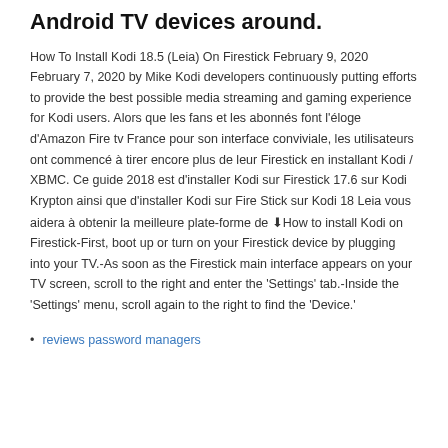Android TV devices around.
How To Install Kodi 18.5 (Leia) On Firestick February 9, 2020 February 7, 2020 by Mike Kodi developers continuously putting efforts to provide the best possible media streaming and gaming experience for Kodi users. Alors que les fans et les abonnés font l'éloge d'Amazon Fire tv France pour son interface conviviale, les utilisateurs ont commencé à tirer encore plus de leur Firestick en installant Kodi / XBMC. Ce guide 2018 est d'installer Kodi sur Firestick 17.6 sur Kodi Krypton ainsi que d'installer Kodi sur Fire Stick sur Kodi 18 Leia vous aidera à obtenir la meilleure plate-forme de ↓How to install Kodi on Firestick-First, boot up or turn on your Firestick device by plugging into your TV.-As soon as the Firestick main interface appears on your TV screen, scroll to the right and enter the 'Settings' tab.-Inside the 'Settings' menu, scroll again to the right to find the 'Device.'
reviews password managers